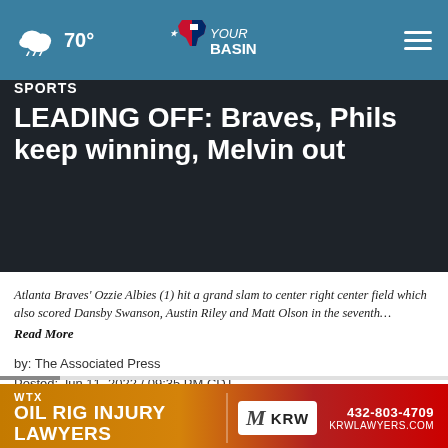70° YourBasin [navigation menu]
SPORTS
LEADING OFF: Braves, Phils keep winning, Melvin out
Atlanta Braves' Ozzie Albies (1) hit a grand slam to center right center field which also scored Dansby Swanson, Austin Riley and Matt Olson in the seventh… Read More
by: The Associated Press
Posted: Jun 11, 2022 / 09:35 PM CDT
Updated: Jun 11, 2022 / 09:35 PM CDT
SHARE [social icons]
[Figure (advertisement): WTX Oil Rig Injury Lawyers - KRW advertisement banner. Phone: 432-803-4709, KRWLAWYERS.COM]